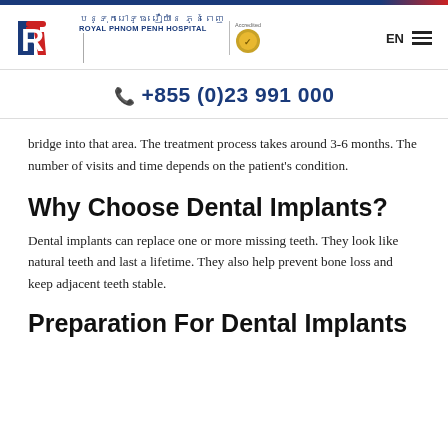[Figure (logo): Royal Phnom Penh Hospital logo with Khmer text, blue and red R emblem, and accreditation gold badge]
+855 (0)23 991 000
bridge into that area. The treatment process takes around 3-6 months. The number of visits and time depends on the patient's condition.
Why Choose Dental Implants?
Dental implants can replace one or more missing teeth. They look like natural teeth and last a lifetime. They also help prevent bone loss and keep adjacent teeth stable.
Preparation For Dental Implants